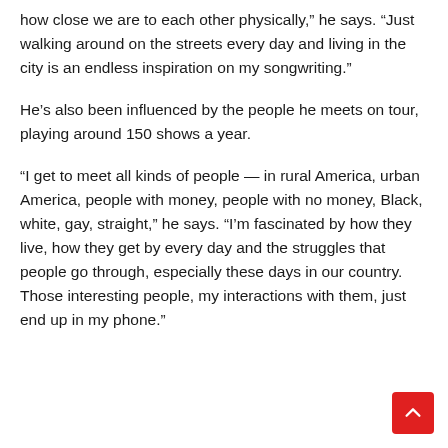how close we are to each other physically,” he says. “Just walking around on the streets every day and living in the city is an endless inspiration on my songwriting.”
He’s also been influenced by the people he meets on tour, playing around 150 shows a year.
“I get to meet all kinds of people — in rural America, urban America, people with money, people with no money, Black, white, gay, straight,” he says. “I’m fascinated by how they live, how they get by every day and the struggles that people go through, especially these days in our country. Those interesting people, my interactions with them, just end up in my phone.”